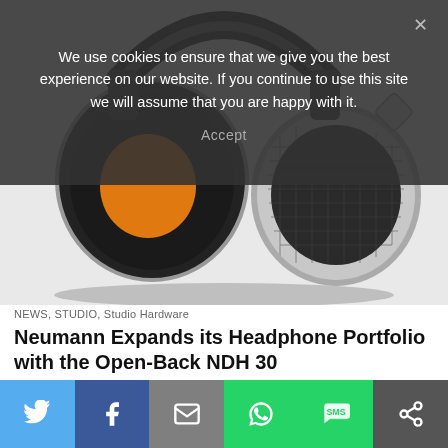We use cookies to ensure that we give you the best experience on our website. If you continue to use this site we will assume that you are happy with it.
Accept
[Figure (photo): Close-up photo of Neumann NDH 30 open-back headphones showing the large black velour ear cup with orange inner cushion, silver metal headband and ear cup housing, and mesh driver on the right side. White background.]
NEWS, STUDIO, Studio Hardware
Neumann Expands its Headphone Portfolio with the Open-Back NDH 30
[Figure (infographic): Social share bar with six buttons: Twitter (blue), Facebook (dark blue), Email (grey), WhatsApp (green), SMS (green), and More/share (dark grey).]